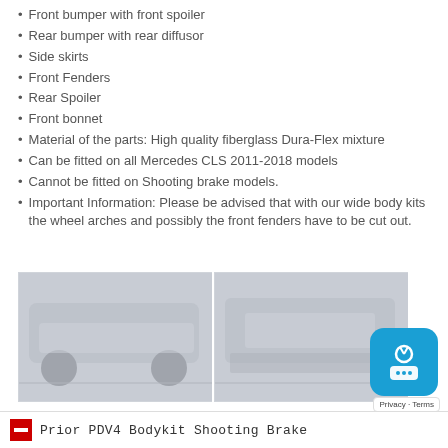Front bumper with front spoiler
Rear bumper with rear diffusor
Side skirts
Front Fenders
Rear Spoiler
Front bonnet
Material of the parts: High quality fiberglass Dura-Flex mixture
Can be fitted on all Mercedes CLS 2011-2018 models
Cannot be fitted on Shooting brake models.
Important Information: Please be advised that with our wide body kits the wheel arches and possibly the front fenders have to be cut out.
[Figure (photo): Two side-by-side photos of a car body kit or workshop scene, appearing washed out/faded in light gray tones]
Prior PDV4 Bodykit Shooting Brake